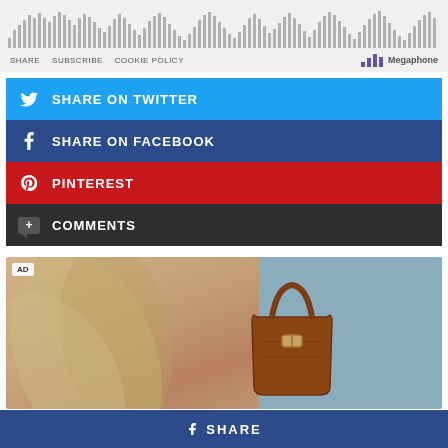[Figure (screenshot): Podcast player widget with waveform visualization and controls showing SHARE, SUBSCRIBE, COOKIE POLICY links and Megaphone logo]
SHARE ON TWITTER
SHARE ON FACEBOOK
PINTEREST
COMMENTS
[Figure (photo): Advertisement image showing a person wearing beige clothing holding a brown leather handbag against a blue sky background. AD badge visible in top-left corner.]
SHARE